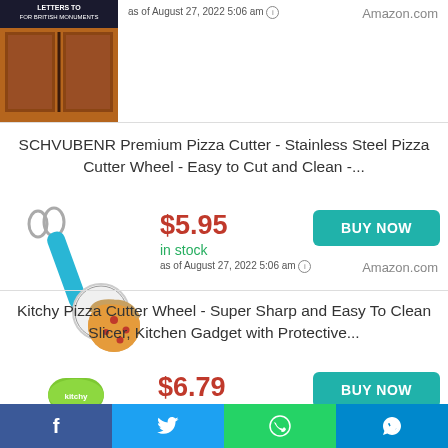[Figure (photo): Partial book/product image with brown door-like elements and text banner at top]
as of August 27, 2022 5:06 am
Amazon.com
SCHVUBENR Premium Pizza Cutter - Stainless Steel Pizza Cutter Wheel - Easy to Cut and Clean -...
[Figure (photo): Pizza cutter wheel with blue handle and a pizza]
$5.95
in stock
as of August 27, 2022 5:06 am
Amazon.com
BUY NOW
Kitchy Pizza Cutter Wheel - Super Sharp and Easy To Clean Slicer, Kitchen Gadget with Protective...
[Figure (photo): Gray and green pizza cutter wheel product]
$6.79
$15.95
in stock
BUY NOW
Amazon.com